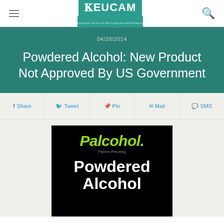EUCAM — European Centre for Monitoring Alcohol Marketing
04/28/2014
Powdered Alcohol: New Product Not Approved By US Government
Share  Tweet  Pin  Mail  SMS
[Figure (photo): Palcohol product logo on black background showing green italic 'Palcohol.' brand name with 'Patent Pending' subtitle and white bold text 'Powdered Alcohol' below]